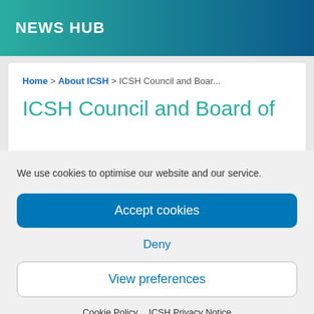NEWS HUB
Home > About ICSH > ICSH Council and Boar...
ICSH Council and Board of
We use cookies to optimise our website and our service.
Accept cookies
Deny
View preferences
Cookie Policy   ICSH Privacy Notice